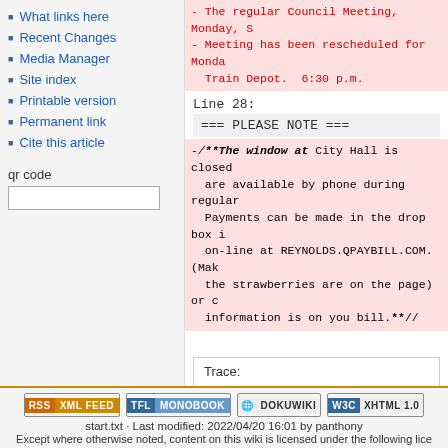What links here
Recent Changes
Media Manager
Site index
Printable version
Permanent link
Cite this article
qr code
- The regular Council Meeting, Monday, S
- Meeting has been rescheduled for Monda... Train Depot.  6:30 p.m.
Line 28:
=== PLEASE NOTE ===
-//**The window at City Hall is closed... are available by phone during regular... Payments can be made in the drop box i... on-line at REYNOLDS.QPAYBILL.COM. (Mak... the strawberries are on the page) or c... information is on you bill.**//
Trace:
start.txt · Last modified: 2022/04/20 16:01 by panthony
Except where otherwise noted, content on this wiki is licensed under the following lice